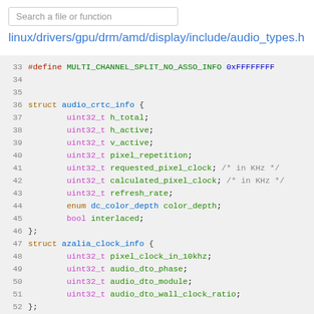[Figure (screenshot): Search bar input field with placeholder 'Search a file or function']
linux/drivers/gpu/drm/amd/display/include/audio_types.h
33  #define MULTI_CHANNEL_SPLIT_NO_ASSO_INFO 0xFFFFFFFF
34
35
36  struct audio_crtc_info {
37       uint32_t h_total;
38       uint32_t h_active;
39       uint32_t v_active;
40       uint32_t pixel_repetition;
41       uint32_t requested_pixel_clock; /* in KHz */
42       uint32_t calculated_pixel_clock; /* in KHz */
43       uint32_t refresh_rate;
44       enum dc_color_depth color_depth;
45       bool interlaced;
46  };
47  struct azalia_clock_info {
48       uint32_t pixel_clock_in_10khz;
49       uint32_t audio_dto_phase;
50       uint32_t audio_dto_module;
51       uint32_t audio_dto_wall_clock_ratio;
52  };
53
54  enum audio_dto_source {
55       DTO_SOURCE_UNKNOWN = 0,
56       DTO_SOURCE_ID0,
57       DTO_SOURCE_ID1,
58       DTO_SOURCE_ID2,